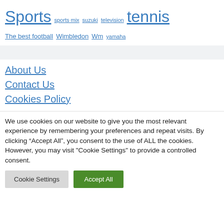Sports  sports mix  suzuki  television  tennis  The best football  Wimbledon  Wm  yamaha
About Us
Contact Us
Cookies Policy
We use cookies on our website to give you the most relevant experience by remembering your preferences and repeat visits. By clicking “Accept All”, you consent to the use of ALL the cookies. However, you may visit "Cookie Settings" to provide a controlled consent.